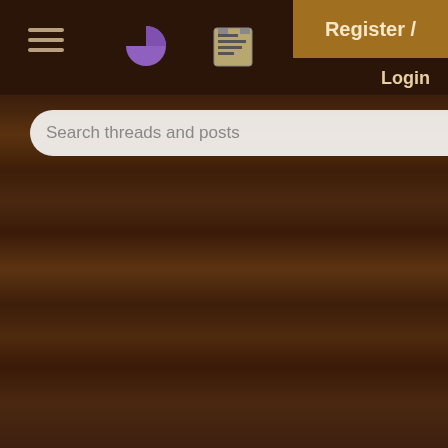Navigation bar with hamburger menu, pie icon, news icon
Register / Login
Search threads and posts
How I Bought This P
0 replies
[Figure (photo): Garden plants photo thumbnail]
Continuity of Opera
24 replies
Greetings from Zone
20 replies
[Figure (photo): Book cover thumbnail - 10 Plant Christmas Recipes]
An amazing free veg Nadav
2 replies